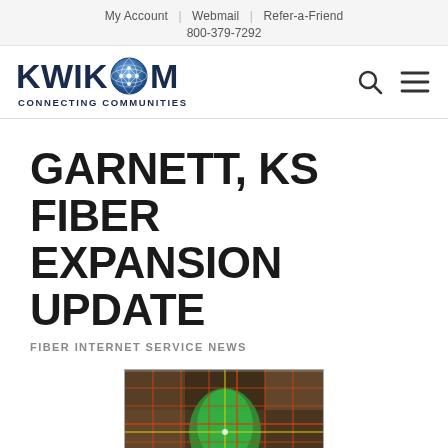My Account | Webmail | Refer-a-Friend
800-379-7292
[Figure (logo): KWIKOM Connecting Communities logo with globe graphic]
GARNETT, KS FIBER EXPANSION UPDATE
FIBER INTERNET SERVICE NEWS
[Figure (map): Aerial satellite map of Garnett, KS showing fiber expansion coverage area with green highlighted region and orange grid lines]